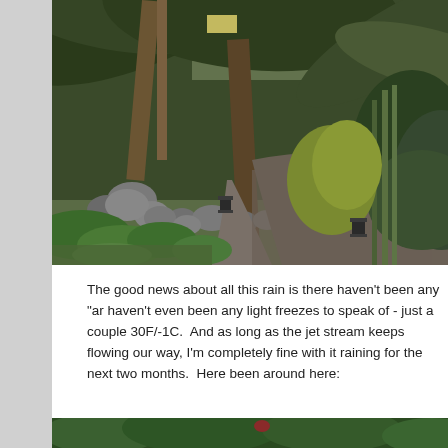[Figure (photo): Indoor tropical garden greenhouse with a gravel path winding through lush green palm trees, ferns, and tropical plants. Stone borders line the pathway, with small garden lanterns visible. The greenhouse ceiling is partially visible above the dense foliage.]
The good news about all this rain is there haven't been any "ar haven't even been any light freezes to speak of - just a couple 30F/-1C.  And as long as the jet stream keeps flowing our way, I'm completely fine with it raining for the next two months.  Here been around here:
[Figure (photo): Bottom portion of another outdoor garden photo showing green foliage and plants, partially cut off at the bottom of the page.]